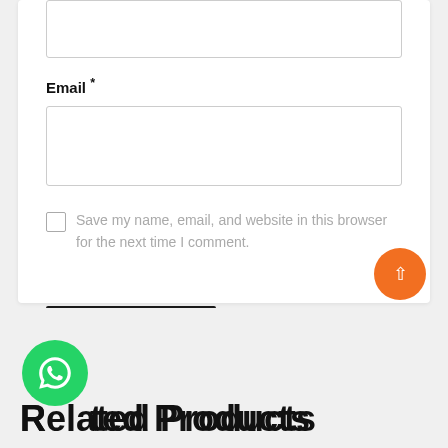Email *
Save my name, email, and website in this browser for the next time I comment.
SUBMIT
Related Products